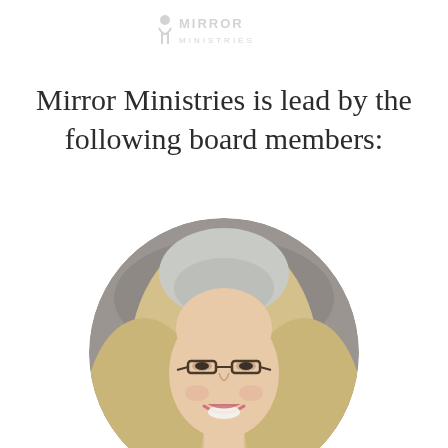[Figure (logo): Mirror Ministries logo with stylized figure and text]
Mirror Ministries is lead by the following board members:
[Figure (photo): Circular portrait photo of a woman with blonde and grey hair, wearing glasses, smiling]